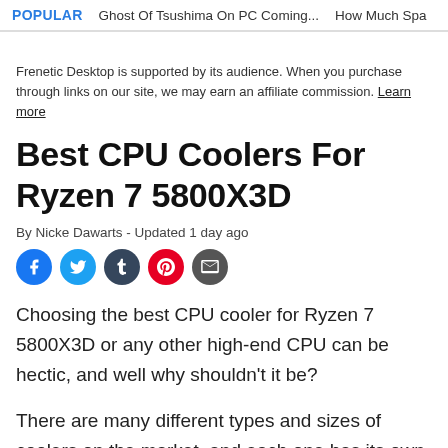POPULAR   Ghost Of Tsushima On PC Coming...   How Much Spa
Frenetic Desktop is supported by its audience. When you purchase through links on our site, we may earn an affiliate commission. Learn more
Best CPU Coolers For Ryzen 7 5800X3D
By Nicke Dawarts - Updated 1 day ago
[Figure (other): Social share icons: Facebook, Twitter, Tumblr, Pinterest, Email]
Choosing the best CPU cooler for Ryzen 7 5800X3D or any other high-end CPU can be hectic, and well why shouldn't it be?
There are many different types and sizes of coolers on the market, and each one has its own set of pros